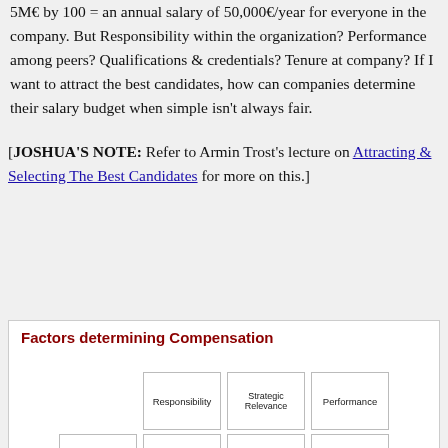5M€ by 100 = an annual salary of 50,000€/year for everyone in the company. But Responsibility within the organization? Performance among peers? Qualifications & credentials? Tenure at company? If I want to attract the best candidates, how can companies determine their salary budget when simple isn't always fair.
[JOSHUA'S NOTE: Refer to Armin Trost's lecture on Attracting & Selecting The Best Candidates for more on this.]
[Figure (other): Diagram titled 'Factors determining Compensation' showing a grid of boxes with labels: Responsibility, Strategic Relevance, Performance in top row, and partial second row visible.]